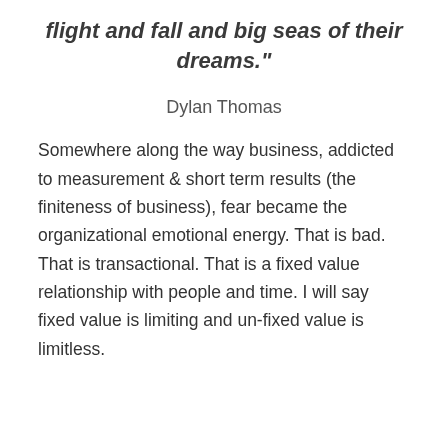flight and fall and big seas of their dreams."
Dylan Thomas
Somewhere along the way business, addicted to measurement & short term results (the finiteness of business), fear became the organizational emotional energy. That is bad. That is transactional. That is a fixed value relationship with people and time. I will say fixed value is limiting and un-fixed value is limitless.